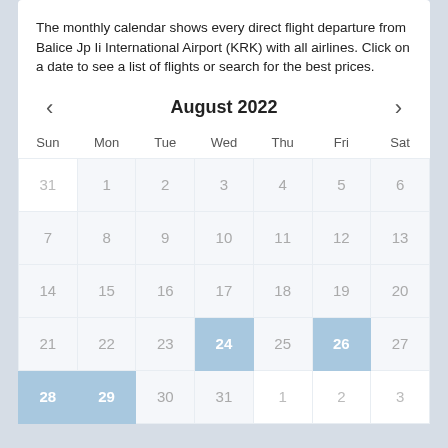The monthly calendar shows every direct flight departure from Balice Jp Ii International Airport (KRK) with all airlines. Click on a date to see a list of flights or search for the best prices.
| Sun | Mon | Tue | Wed | Thu | Fri | Sat |
| --- | --- | --- | --- | --- | --- | --- |
| 31 | 1 | 2 | 3 | 4 | 5 | 6 |
| 7 | 8 | 9 | 10 | 11 | 12 | 13 |
| 14 | 15 | 16 | 17 | 18 | 19 | 20 |
| 21 | 22 | 23 | 24 | 25 | 26 | 27 |
| 28 | 29 | 30 | 31 | 1 | 2 | 3 |